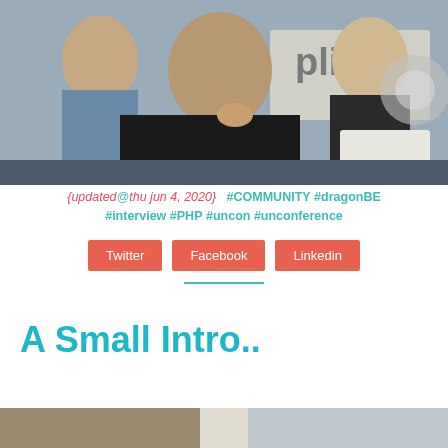[Figure (photo): Three men seated at a conference or event, looking attentively. A partial sign with 'plicati' visible in the background. One man has a beard and is wearing a black shirt.]
{updated@thu jun 4, 2020}  #COMMUNITY #dragonBE #interview #PHP #uncon #unconference
Twitter  Facebook  Linkedin
A Small Intro..
[Figure (photo): Bottom portion of a photo, partially visible, showing an indoor scene.]